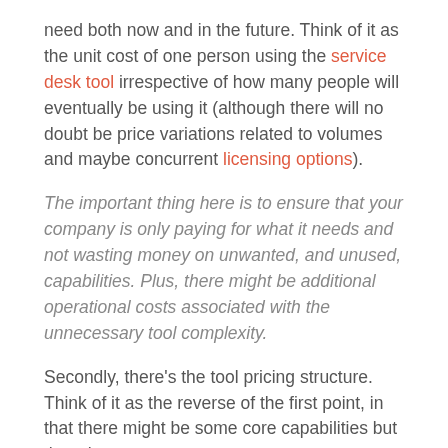need both now and in the future. Think of it as the unit cost of one person using the service desk tool irrespective of how many people will eventually be using it (although there will no doubt be price variations related to volumes and maybe concurrent licensing options).
The important thing here is to ensure that your company is only paying for what it needs and not wasting money on unwanted, and unused, capabilities. Plus, there might be additional operational costs associated with the unnecessary tool complexity.
Secondly, there's the tool pricing structure. Think of it as the reverse of the first point, in that there might be some core capabilities but then there are